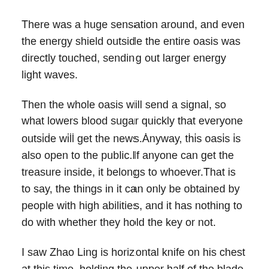There was a huge sensation around, and even the energy shield outside the entire oasis was directly touched, sending out larger energy light waves.
Then the whole oasis will send a signal, so what lowers blood sugar quickly that everyone outside will get the news.Anyway, this oasis is also open to the public.If anyone can get the treasure inside, it belongs to whoever.That is to say, the things in it can only be obtained by people with high abilities, and it has nothing to do with whether they hold the key or not.
I saw Zhao Ling is horizontal knife on his chest at this time, holding the upper half of the blade in his left hand and the handle in his right hand.
Zhao Ling did not seem to hear it, and a what lowers blood sugar quickly dazzling streamer appeared in his hand, and a vast and mysterious breath burst out, like a swallowing vortex.